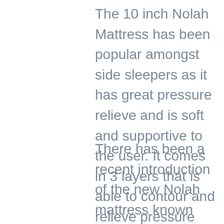The 10 inch Nolah Mattress has been popular amongst side sleepers as it has great pressure relieve and is soft and supportive to the user. It comes in 3 layers that is able to contour and relieve pressure from the body while still being a responsive mattress.
There has been a recent introduction of the new Nolah mattress known and called as the Nolah Signature. This mattress is 12 inch in height and